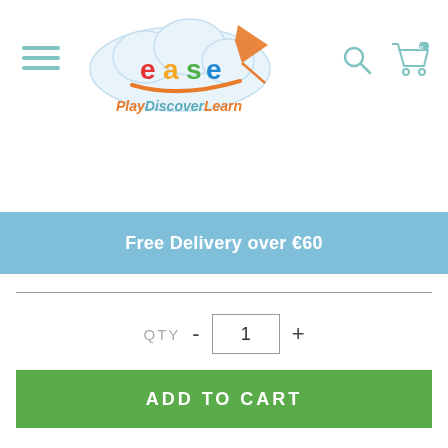[Figure (logo): Ease Play Discover Learn logo — cloud shape with colourful letters, orange swoosh and kite tail, subtitle 'PlayDiscoverLearn' in orange and teal]
Free Delivery over €60
QTY - 1 +
ADD TO CART
PRODUCT DESCRIPTION
A set of beautifully made dressing up clothes with a multicultural theme. Explore themes of community and develop cultural awareness whilst playing together. All suits are easy to put on and take off and are made of heavy duty materials ideal for lots of play. Travel the world with our